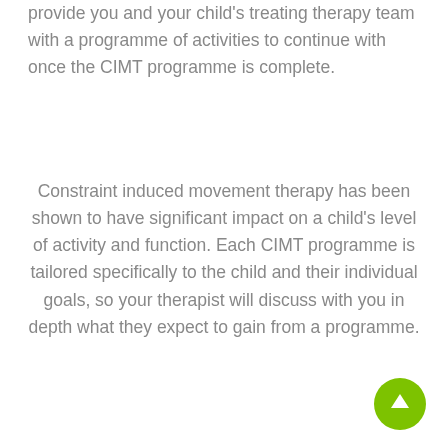provide you and your child's treating therapy team with a programme of activities to continue with once the CIMT programme is complete.
Constraint induced movement therapy has been shown to have significant impact on a child's level of activity and function. Each CIMT programme is tailored specifically to the child and their individual goals, so your therapist will discuss with you in depth what they expect to gain from a programme.